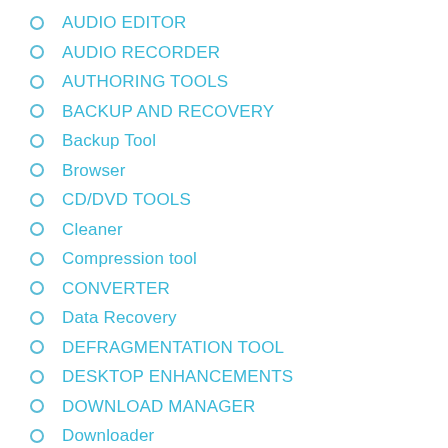AUDIO EDITOR
AUDIO RECORDER
AUTHORING TOOLS
BACKUP AND RECOVERY
Backup Tool
Browser
CD/DVD TOOLS
Cleaner
Compression tool
CONVERTER
Data Recovery
DEFRAGMENTATION TOOL
DESKTOP ENHANCEMENTS
DOWNLOAD MANAGER
Downloader